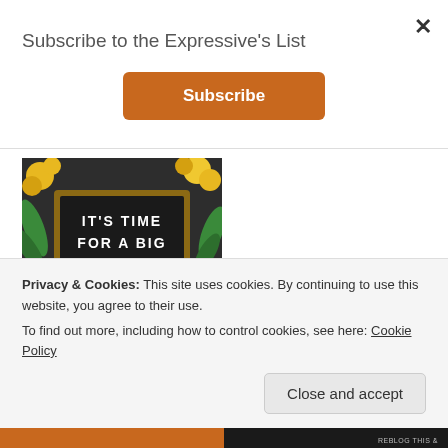Subscribe to the Expressive's List
Subscribe
[Figure (photo): Chalkboard sign with yellow flowers and tropical leaves reading: IT'S TIME FOR A BIG BIRTHDAY GIVEAWAY]
It's time for a Big Birthday Giveaway!
August 31, 2018
In "General"
Privacy & Cookies: This site uses cookies. By continuing to use this website, you agree to their use.
To find out more, including how to control cookies, see here: Cookie Policy
Close and accept